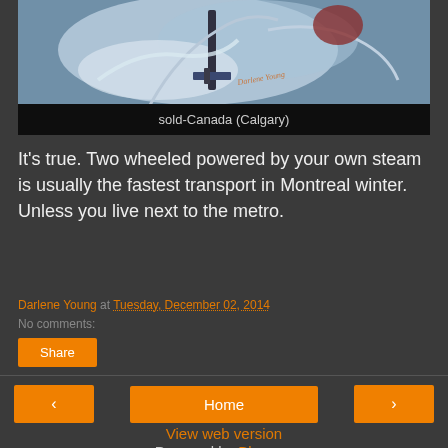[Figure (photo): Painting of a cyclist in winter, with swirling blue and white brushstrokes, signed by Darlene Young]
sold-Canada (Calgary)
It's true. Two wheeled powered by your own steam is usually the fastest transport in Montreal winter. Unless you live next to the metro.
Darlene Young at Tuesday, December 02, 2014
No comments:
Share
‹   Home   ›
View web version
Powered by Blogger.